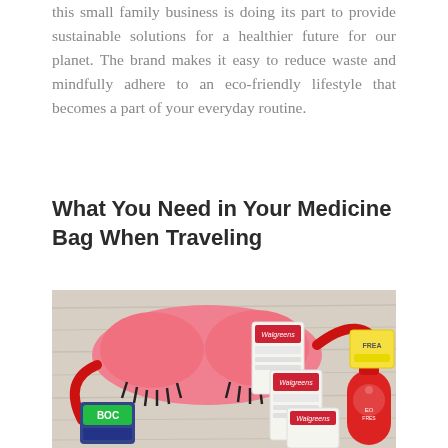this small family business is doing its part to provide sustainable solutions for a healthier future for our planet. The brand makes it easy to reduce waste and mindfully adhere to an eco-friendly lifestyle that becomes a part of your everyday routine.
What You Need in Your Medicine Bag When Traveling
[Figure (photo): Flat lay photo on a white wood surface showing travel health items: a pink sleep mask with eyelash design and red strap, several Walgreens branded product boxes, a red hand sanitizer bottle with paw print design, a blue BOC item, and a yellow FREA branded item.]